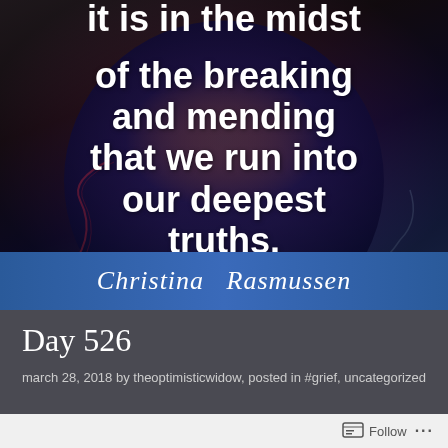[Figure (illustration): Quote card image with dark moody background (sunset/dusk colors), a large dark circular overlay, and white bold text displaying a Christina Rasmussen quote. A blue banner at the bottom shows the author name in italic script.]
Day 526
march 28, 2018 by theoptimisticwidow, posted in #grief, uncategorized
[Figure (screenshot): Light gray bottom bar with a Follow button icon and text.]